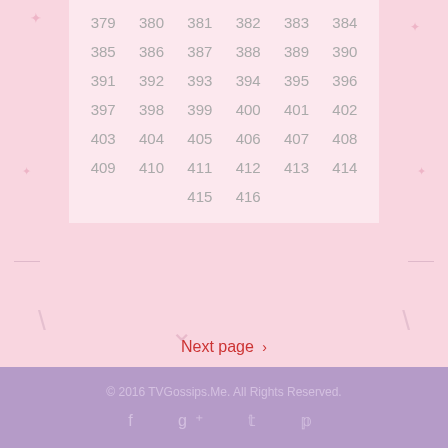| 379 | 380 | 381 | 382 | 383 | 384 |
| 385 | 386 | 387 | 388 | 389 | 390 |
| 391 | 392 | 393 | 394 | 395 | 396 |
| 397 | 398 | 399 | 400 | 401 | 402 |
| 403 | 404 | 405 | 406 | 407 | 408 |
| 409 | 410 | 411 | 412 | 413 | 414 |
| 415 | 416 |  |  |  |  |
Next page ›
© 2016 TVGossips.Me. All Rights Reserved.